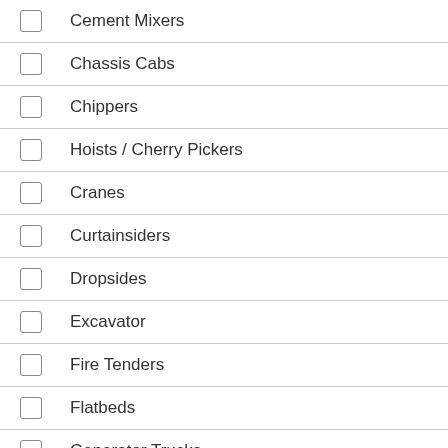Cement Mixers
Chassis Cabs
Chippers
Hoists / Cherry Pickers
Cranes
Curtainsiders
Dropsides
Excavator
Fire Tenders
Flatbeds
Generator Trucks
Gritters